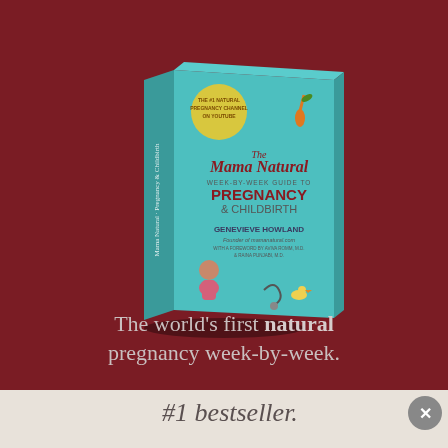[Figure (photo): 3D rendered book cover of 'The Mama Natural Week-by-Week Guide to Pregnancy & Childbirth' by Genevieve Howland, teal cover with illustrated characters and food items, shown at an angle on a dark red background]
The world's first natural pregnancy week-by-week.
#1 bestseller.